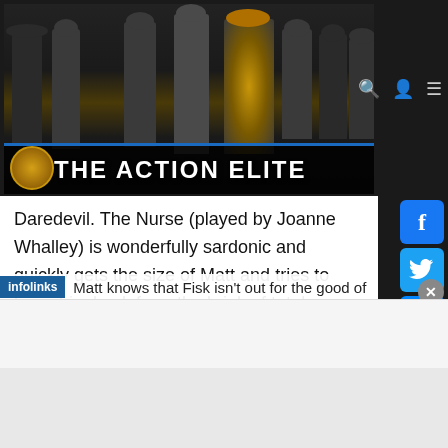[Figure (screenshot): The Action Elite website banner with dark background showing action movie character silhouettes and the site logo/title 'THE ACTION ELITE']
Daredevil. The Nurse (played by Joanne Whalley) is wonderfully sardonic and quickly gets the size of Matt and tries to bring him back from the brink of total despair.

When Wilson Fisk ends up making a deal with the FBI he is released from prison and gets to stay in a swanky penthouse in exchange for him giving up various crime syndicates around Matt knows that Fisk isn't out for the good of
[Figure (screenshot): Infolinks advertisement bar overlay at bottom of content]